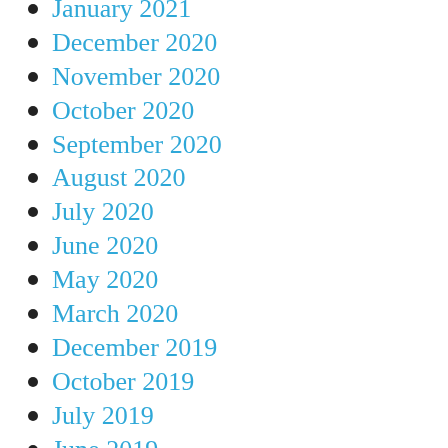January 2021
December 2020
November 2020
October 2020
September 2020
August 2020
July 2020
June 2020
May 2020
March 2020
December 2019
October 2019
July 2019
June 2019
May 2019
April 2019
March 2019